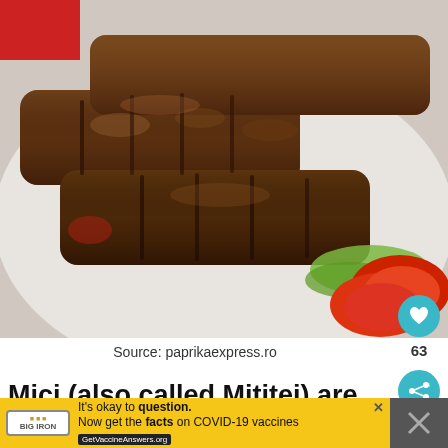[Figure (photo): Photo of Mici (Mititei) - grilled Romanian sausages/meat rolls on a white plate with lettuce and tomato slices, close-up shot]
Source: paprikaexpress.ro
Mici (also called Mititei) are literally
It's okay to question. Now get the facts on COVID-19 vaccines GetVaccineAnswers.org